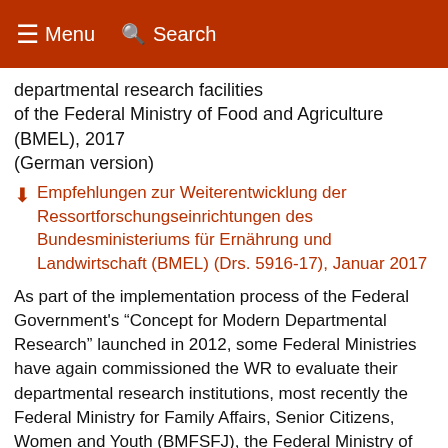≡ Menu 🔍 Search
departmental research facilities of the Federal Ministry of Food and Agriculture (BMEL), 2017 (German version)
Empfehlungen zur Weiterentwicklung der Ressortforschungseinrichtungen des Bundesministeriums für Ernährung und Landwirtschaft (BMEL) (Drs. 5916-17), Januar 2017
As part of the implementation process of the Federal Government's "Concept for Modern Departmental Research" launched in 2012, some Federal Ministries have again commissioned the WR to evaluate their departmental research institutions, most recently the Federal Ministry for Family Affairs, Senior Citizens, Women and Youth (BMFSFJ), the Federal Ministry of Defence (BMVg) and again the Federal Ministry of Agriculture and Food (BMEL).